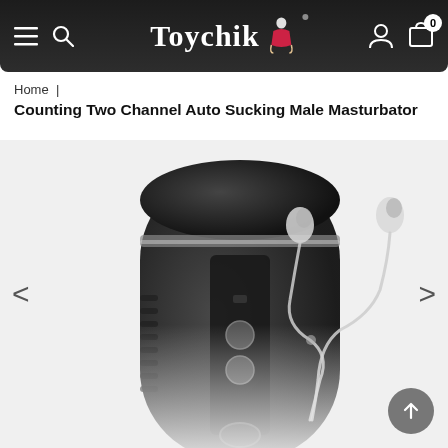Toychik
Home |
Counting Two Channel Auto Sucking Male Masturbator
[Figure (photo): Product photo showing a black male masturbator device on the left and white earbuds/earphones on the right, on a light grey background. Navigation arrows (< and >) are visible on the sides. A scroll-to-top button is in the bottom right corner.]